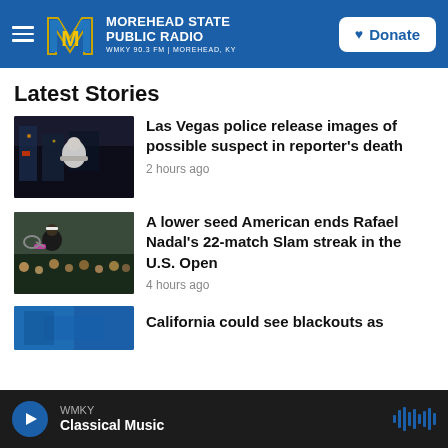MOREHEAD STATE PUBLIC RADIO — WMKY 90.3 FM | MOREHEAD, KY — Donate
Latest Stories
[Figure (photo): Dark nighttime street scene with a man standing arms crossed in front of city lights]
Las Vegas police release images of possible suspect in reporter's death
2 hours ago
[Figure (photo): Tennis player looking up at a stadium court]
A lower seed American ends Rafael Nadal's 22-match Slam streak in the U.S. Open
4 hours ago
[Figure (photo): Partially visible story image — blue toned]
California could see blackouts as
WMKY — Classical Music